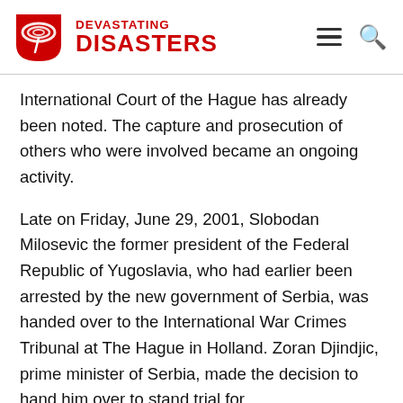DEVASTATING DISASTERS
International Court of the Hague has already been noted. The capture and prosecution of others who were involved became an ongoing activity.
Late on Friday, June 29, 2001, Slobodan Milosevic the former president of the Federal Republic of Yugoslavia, who had earlier been arrested by the new government of Serbia, was handed over to the International War Crimes Tribunal at The Hague in Holland. Zoran Djindjic, prime minister of Serbia, made the decision to hand him over to stand trial for